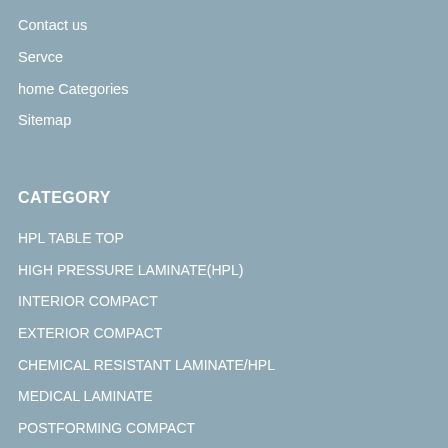Contact us
Servce
home Categories
Sitemap
CATEGORY
HPL TABLE TOP
HIGH PRESSURE LAMINATE(HPL)
INTERIOR COMPACT
EXTERIOR COMPACT
CHEMICAL RESISTANT LAMINATE/HPL
MEDICAL LAMINATE
POSTFORMING COMPACT
COMPACT LAMINATE BOARD
ACCESSORIES
ALUMINUM HONEYCOMB